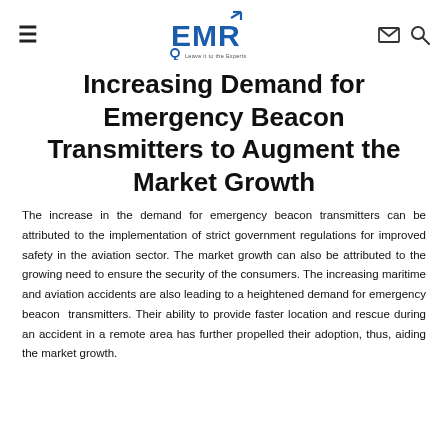EMR — Leave it to the Experts
Increasing Demand for Emergency Beacon Transmitters to Augment the Market Growth
The increase in the demand for emergency beacon transmitters can be attributed to the implementation of strict government regulations for improved safety in the aviation sector. The market growth can also be attributed to the growing need to ensure the security of the consumers. The increasing maritime and aviation accidents are also leading to a heightened demand for emergency beacon transmitters. Their ability to provide faster location and rescue during an accident in a remote area has further propelled their adoption, thus, aiding the market growth.